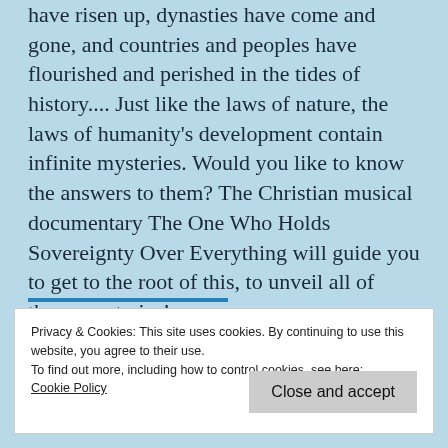have risen up, dynasties have come and gone, and countries and peoples have flourished and perished in the tides of history.... Just like the laws of nature, the laws of humanity's development contain infinite mysteries. Would you like to know the answers to them? The Christian musical documentary The One Who Holds Sovereignty Over Everything will guide you to get to the root of this, to unveil all of these mysteries!
Privacy & Cookies: This site uses cookies. By continuing to use this website, you agree to their use.
To find out more, including how to control cookies, see here: Cookie Policy